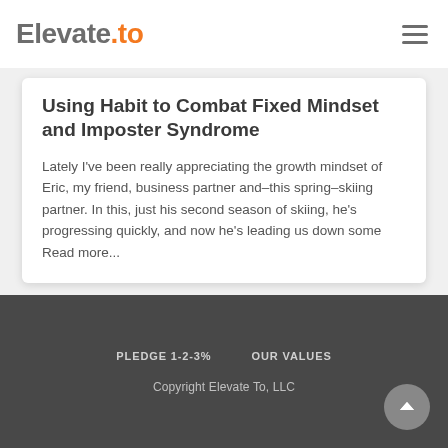Elevate.to
Using Habit to Combat Fixed Mindset and Imposter Syndrome
Lately I've been really appreciating the growth mindset of Eric, my friend, business partner and–this spring–skiing partner. In this, just his second season of skiing, he's progressing quickly, and now he's leading us down some Read more...
PLEDGE 1-2-3%   OUR VALUES   Copyright Elevate To, LLC